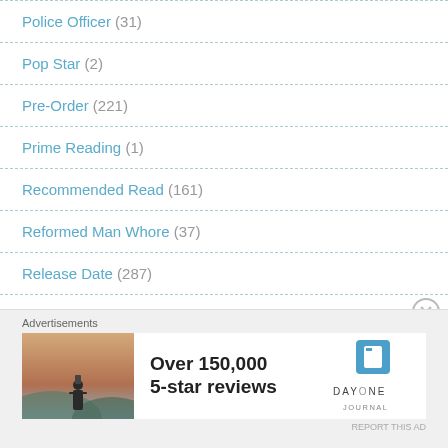Police Officer (31)
Pop Star (2)
Pre-Order (221)
Prime Reading (1)
Recommended Read (161)
Reformed Man Whore (37)
Release Date (287)
Reverse Harem (1)
[Figure (screenshot): Advertisement banner for Day One Journal showing a person photographing a scenic view with text 'Over 150,000 5-star reviews' and the Day One Journal logo]
Advertisements
REPORT THIS AD